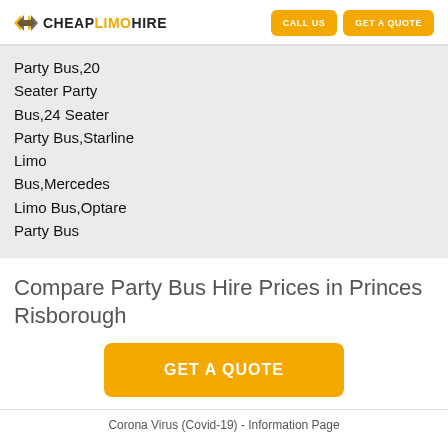CHEAP LIMO HIRE | CALL US | GET A QUOTE
Party Bus,20
Seater Party
Bus,24 Seater
Party Bus,Starline
Limo
Bus,Mercedes
Limo Bus,Optare
Party Bus
Compare Party Bus Hire Prices in Princes Risborough
GET A QUOTE
Corona Virus (Covid-19) - Information Page